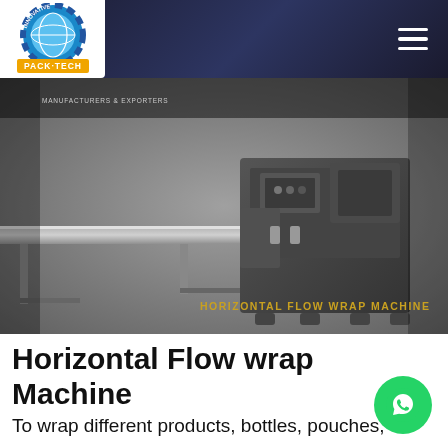Innovative Pack-Tech — navigation bar with logo and hamburger menu
[Figure (photo): Horizontal Flow Wrap Machine — industrial packaging machine with long conveyor feed track and main sealing/cutting unit body, shown in a grey-toned product photo. Text overlay reads 'MANUFACTURERS & EXPORTERS' top-left and 'HORIZONTAL FLOW WRAP MACHINE' bottom-right in gold/yellow text.]
Horizontal Flow wrap Machine
To wrap different products, bottles, pouches,